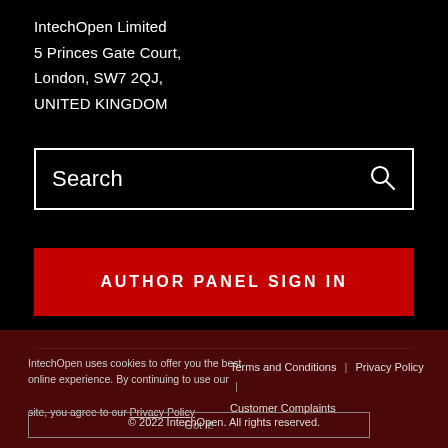IntechOpen Limited
5 Princes Gate Court,
London, SW7 2QJ,
UNITED KINGDOM
Search
AUTHOR PANEL SIGN IN
IntechOpen uses cookies to offer you the best online experience. By continuing to use our site, you agree to our Privacy Policy
Terms and Conditions | Privacy Policy | Customer Complaints
Got it!
© 2022 IntechOpen. All rights reserved.